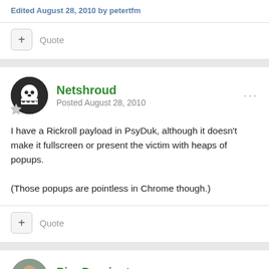Edited August 28, 2010 by petertfm
Quote
Netshroud
Posted August 28, 2010
I have a Rickroll payload in PsyDuk, although it doesn't make it fullscreen or present the victim with heaps of popups.

(Those popups are pointless in Chrome though.)
Quote
PineDominator
Posted August 29, 2010